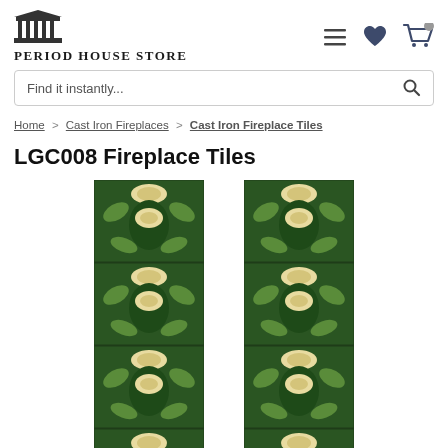Period House Store — logo, hamburger menu, heart, cart icons
Find it instantly...
Home > Cast Iron Fireplaces > Cast Iron Fireplace Tiles
LGC008 Fireplace Tiles
[Figure (photo): Two vertical strips of green and cream Art Nouveau fireplace tiles, each strip showing four repeating floral/tulip pattern tiles on a dark green background]